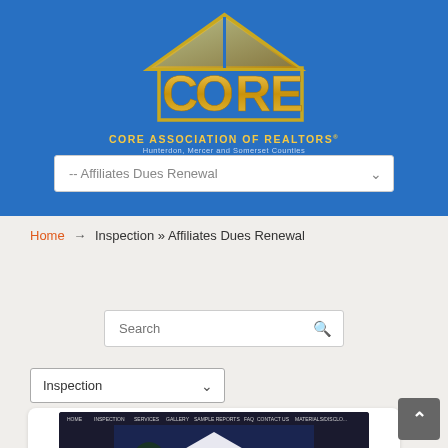[Figure (logo): CORE Association of Realtors logo — golden house shape with letters C O R E inside, on blue background, with text 'CORE ASSOCIATION OF REALTORS®' and subtitle 'Hunterdon, Mercer and Somerset Counties']
-- Affiliates Dues Renewal
Home → Inspection » Affiliates Dues Renewal
Search
Inspection
[Figure (screenshot): Screenshot of a real estate company website showing a house with white/blue exterior at night]